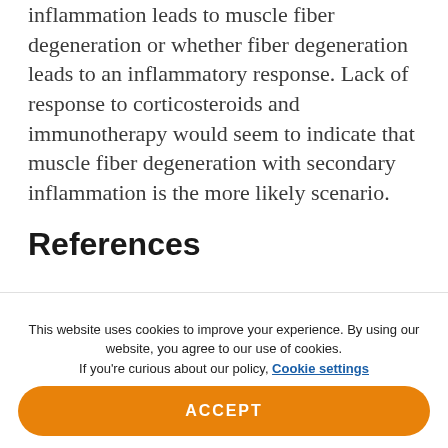inflammation leads to muscle fiber degeneration or whether fiber degeneration leads to an inflammatory response. Lack of response to corticosteroids and immunotherapy would seem to indicate that muscle fiber degeneration with secondary inflammation is the more likely scenario.
References
1. Needham M, Mastaglia F. Sporadic inclusion body myositis: A review of recent...
This website uses cookies to improve your experience. By using our website, you agree to our use of cookies. If you're curious about our policy, Cookie settings